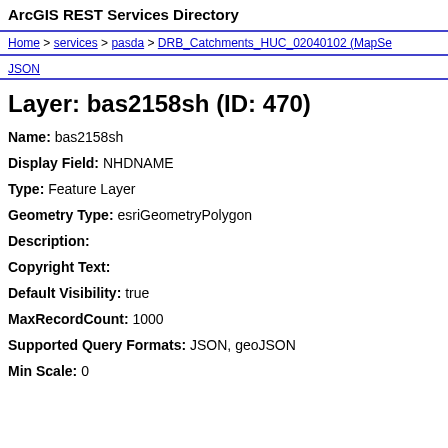ArcGIS REST Services Directory
Home > services > pasda > DRB_Catchments_HUC_02040102 (MapServer)
JSON
Layer: bas2158sh (ID: 470)
Name: bas2158sh
Display Field: NHDNAME
Type: Feature Layer
Geometry Type: esriGeometryPolygon
Description:
Copyright Text:
Default Visibility: true
MaxRecordCount: 1000
Supported Query Formats: JSON, geoJSON
Min Scale: 0